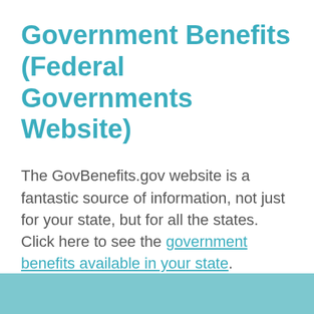Government Benefits (Federal Governments Website)
The GovBenefits.gov website is a fantastic source of information, not just for your state, but for all the states. Click here to see the government benefits available in your state.